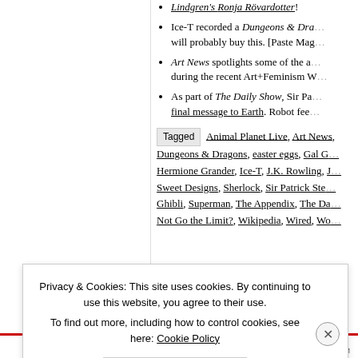Lindgren's Ronja Rövardotter!
Ice-T recorded a Dungeons & Dragons audiobook. My 12-year-old self will probably buy this. [Paste Mag…]
Art News spotlights some of the articles that were created during the recent Art+Feminism Wikipedia edit-a-thon.
As part of The Daily Show, Sir Patrick Stewart sends his final message to Earth. Robot feelings.
Tagged Animal Planet Live, Art News, Dungeons & Dragons, easter eggs, Gal…, Hermione Grander, Ice-T, J.K. Rowling, J…, Sweet Designs, Sherlock, Sir Patrick Ste…, Studio Ghibli, Superman, The Appendix, The Da…, Why Not Go the Limit?, Wikipedia, Wired, Wo…
Privacy & Cookies: This site uses cookies. By continuing to use this website, you agree to their use. To find out more, including how to control cookies, see here: Cookie Policy
Close and accept